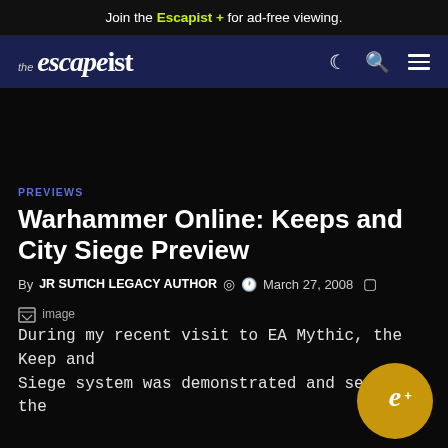Join the Escapist + for ad-free viewing.
[Figure (logo): The Escapist website logo and navigation bar with moon, search, and menu icons on dark blue background]
PREVIEWS
Warhammer Online: Keeps and City Siege Preview
By JR SUTICH LEGACY AUTHOR  March 27, 2008
During my recent visit to EA Mythic, the Keep and Siege system was demonstrated and seeing the